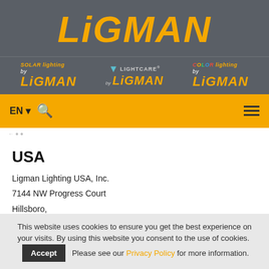[Figure (logo): LIGMAN main logo in gold italic bold text on dark gray background]
[Figure (logo): Three sub-brand logos: SOLAR lighting by LIGMAN, LIGHTCARE by LIGMAN, COLOR lighting by LIGMAN on dark gray background]
[Figure (screenshot): Yellow navigation bar with EN language selector, search icon, and hamburger menu icon]
USA
Ligman Lighting USA, Inc.
7144 NW Progress Court
Hillsboro,
97124, Oregon,
USA
This website uses cookies to ensure you get the best experience on your visits. By using this website you consent to the use of cookies. Accept Please see our Privacy Policy for more information.